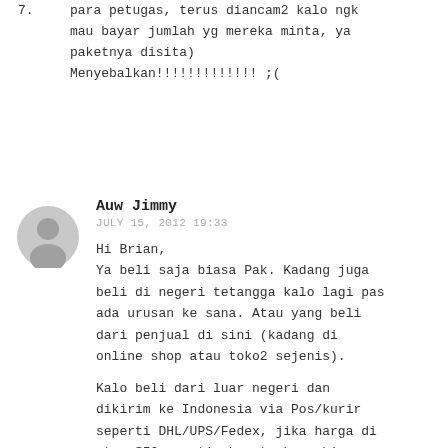7. para petugas, terus diancam2 kalo ngk mau bayar jumlah yg mereka minta, ya paketnya disita)
Menyebalkan!!!!!!!!!!!!! ;(
Auw Jimmy
JULY 15, 2012 19:33
Hi Brian,
Ya beli saja biasa Pak. Kadang juga beli di negeri tetangga kalo lagi pas ada urusan ke sana. Atau yang beli dari penjual di sini (kadang di online shop atau toko2 sejenis).

Kalo beli dari luar negeri dan dikirim ke Indonesia via Pos/kurir seperti DHL/UPS/Fedex, jika harga di atas $50, nanti akan terkena biaya